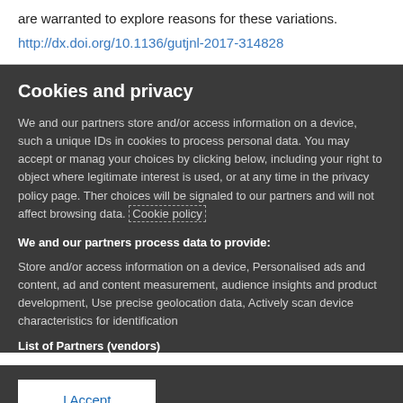are warranted to explore reasons for these variations.
http://dx.doi.org/10.1136/gutjnl-2017-314828
Cookies and privacy
We and our partners store and/or access information on a device, such a unique IDs in cookies to process personal data. You may accept or manage your choices by clicking below, including your right to object where legitimate interest is used, or at any time in the privacy policy page. These choices will be signaled to our partners and will not affect browsing data. Cookie policy
We and our partners process data to provide:
Store and/or access information on a device, Personalised ads and content, ad and content measurement, audience insights and product development, Use precise geolocation data, Actively scan device characteristics for identification
List of Partners (vendors)
I Accept